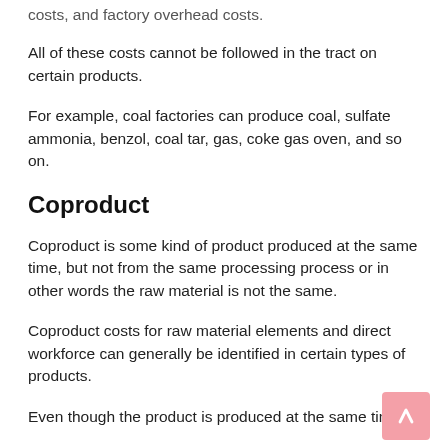costs, and factory overhead costs.
All of these costs cannot be followed in the tract on certain products.
For example, coal factories can produce coal, sulfate ammonia, benzol, coal tar, gas, coke gas oven, and so on.
Coproduct
Coproduct is some kind of product produced at the same time, but not from the same processing process or in other words the raw material is not the same.
Coproduct costs for raw material elements and direct workforce can generally be identified in certain types of products.
Even though the product is produced at the same time,